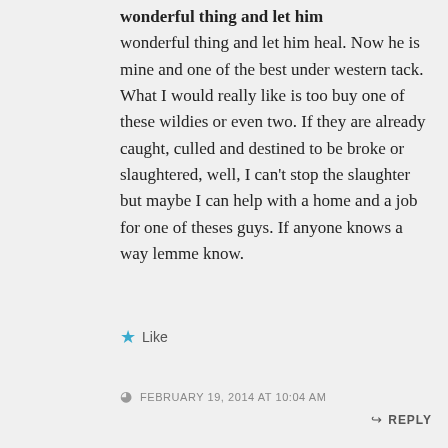wonderful thing and let him heal. Now he is mine and one of the best under western tack. What I would really like is too buy one of these wildies or even two. If they are already caught, culled and destined to be broke or slaughtered, well, I can't stop the slaughter but maybe I can help with a home and a job for one of theses guys. If anyone knows a way lemme know.
Like
FEBRUARY 19, 2014 AT 10:04 AM
REPLY